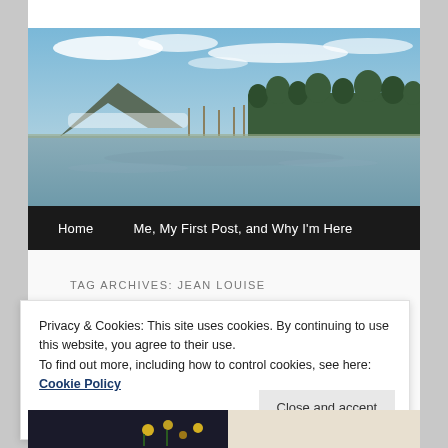[Figure (photo): Landscape photograph of a lake or pond with mountains and bare trees in the background, blue sky with clouds, calm water reflecting the scenery.]
Home   Me, My First Post, and Why I'm Here
TAG ARCHIVES: JEAN LOUISE
Privacy & Cookies: This site uses cookies. By continuing to use this website, you agree to their use.
To find out more, including how to control cookies, see here: Cookie Policy
Close and accept
[Figure (photo): Partial thumbnail image at bottom of page, appears to show a dark subject with yellow flowers.]